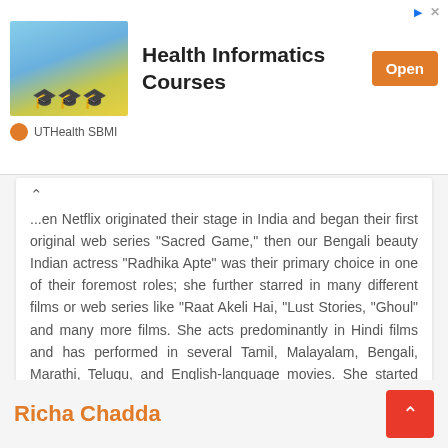[Figure (other): Ad banner for Health Informatics Courses by UTHealth SBMI with graduation photo and Open button]
...en Netflix originated their stage in India and began their first original web series “Sacred Game,” then our Bengali beauty Indian actress “Radhika Apte” was their primary choice in one of their foremost roles; she further starred in many different films or web series like “Raat Akeli Hai, “Lust Stories, “Ghoul” and many more films. She acts predominantly in Hindi films and has performed in several Tamil, Malayalam, Bengali, Marathi, Telugu, and English-language movies. She started acting in theatre first and made her movie debut with a small role in the Hindi fiction film Vaah! Life Ho Toh Aisi, which also starred Shahid Kapoor!
Richa Chadda